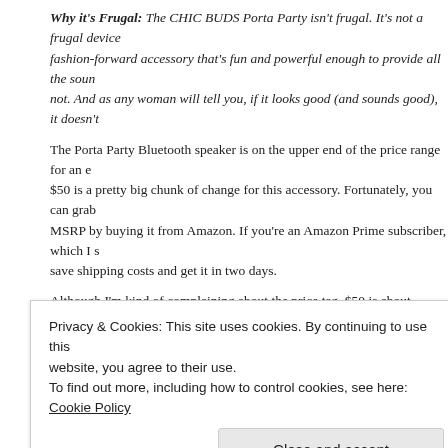Why it's Frugal: The CHIC BUDS Porta Party isn't frugal. It's not a frugal device fashion-forward accessory that's fun and powerful enough to provide all the soun not. And as any woman will tell you, if it looks good (and sounds good), it doesn't
The Porta Party Bluetooth speaker is on the upper end of the price range for an e $50 is a pretty big chunk of change for this accessory. Fortunately, you can grab MSRP by buying it from Amazon. If you're an Amazon Prime subscriber, which I s save shipping costs and get it in two days.
Although I'm kind of complaining about the price tag, $50 is about average for po There are some that sell for $40-ish and some sell for as much as $150. The CH Bluetooth speaker is very well made and attractive. It should provide years of enj doing it.
Rating: 9/10
Recommendation: Have him buy you one or splurge on yourself. You deserve it.
Share this:
Privacy & Cookies: This site uses cookies. By continuing to use this website, you agree to their use. To find out more, including how to control cookies, see here: Cookie Policy
Close and accept